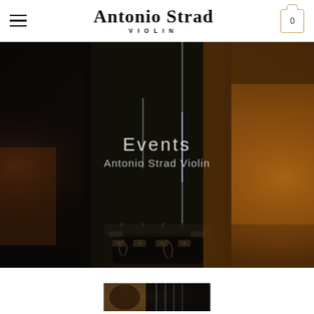Antonio Strad VIOLIN — navigation header with hamburger menu and cart icon
[Figure (photo): Close-up macro photograph of a violin fingerboard and strings in dark moody lighting, with warm amber/gold tones on the right side from the violin body. Text overlay reads 'Events' and 'Antonio Strad Violin' in white semi-transparent lettering.]
[Figure (photo): Partial thumbnail image of a violin-related photo visible at the bottom of the page.]